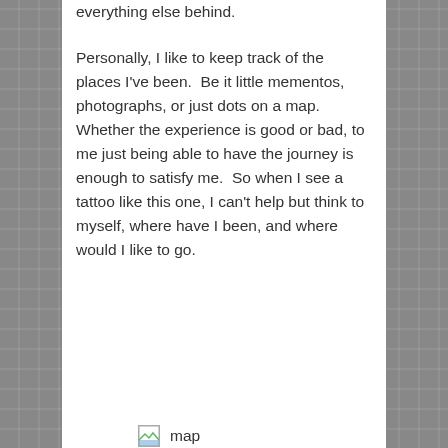everything else behind.
Personally, I like to keep track of the places I've been.  Be it little mementos, photographs, or just dots on a map.  Whether the experience is good or bad, to me just being able to have the journey is enough to satisfy me.  So when I see a tattoo like this one, I can't help but think to myself, where have I been, and where would I like to go.
[Figure (other): Broken image placeholder with alt text 'map']